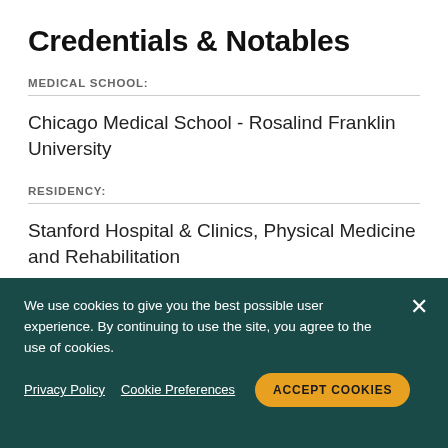Credentials & Notables
MEDICAL SCHOOL:
Chicago Medical School - Rosalind Franklin University
RESIDENCY:
Stanford Hospital & Clinics, Physical Medicine and Rehabilitation
INTERNSHIP
We use cookies to give you the best possible user experience. By continuing to use the site, you agree to the use of cookies.
Privacy Policy  Cookie Preferences  ACCEPT COOKIES